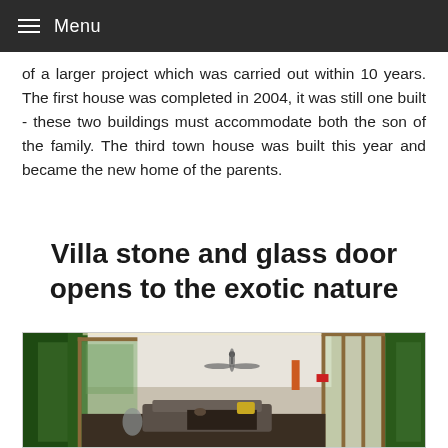Menu
of a larger project which was carried out within 10 years. The first house was completed in 2004, it was still one built - these two buildings must accommodate both the son of the family. The third town house was built this year and became the new home of the parents.
Villa stone and glass door opens to the exotic nature
[Figure (photo): Interior of a tropical villa with large glass and wooden folding doors opening to lush green garden. Features a ceiling fan, modern furniture, and natural light flooding the open-plan living space.]